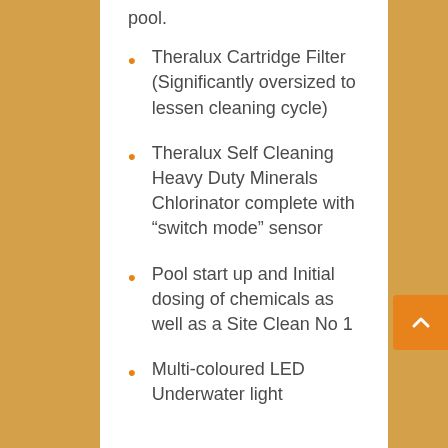pool.
Theralux Cartridge Filter (Significantly oversized to lessen cleaning cycle)
Theralux Self Cleaning Heavy Duty Minerals Chlorinator complete with “switch mode” sensor
Pool start up and Initial dosing of chemicals as well as a Site Clean No 1
Multi-coloured LED Underwater light